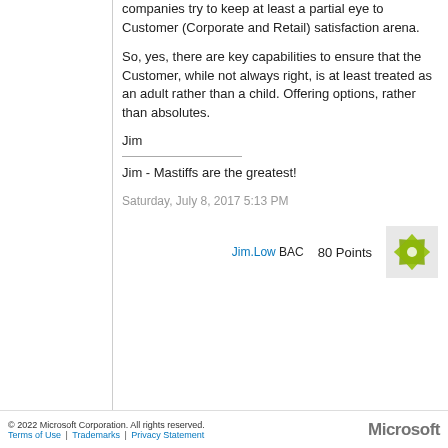companies try to keep at least a partial eye to Customer (Corporate and Retail) satisfaction arena.
So, yes, there are key capabilities to ensure that the Customer, while not always right, is at least treated as an adult rather than a child. Offering options, rather than absolutes.
Jim
Jim - Mastiffs are the greatest!
Saturday, July 8, 2017 5:13 PM
Jim.Low BAC  80 Points
© 2022 Microsoft Corporation. All rights reserved. Terms of Use | Trademarks | Privacy Statement | Microsoft